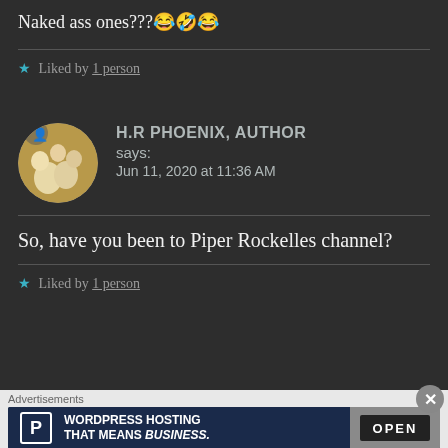Jun 11, 2020 at 3:05 PM
Naked ass ones???😂🤣😂
★ Liked by 1 person
[Figure (photo): Avatar photo of H.R Phoenix, Author showing a cat paw held by a human hand]
H.R PHOENIX, AUTHOR says: Jun 11, 2020 at 11:36 AM
So, have you been to Piper Rockelles channel?
★ Liked by 1 person
Advertisements
[Figure (infographic): WordPress Hosting That Means Business advertisement banner with P logo and open sign photo]